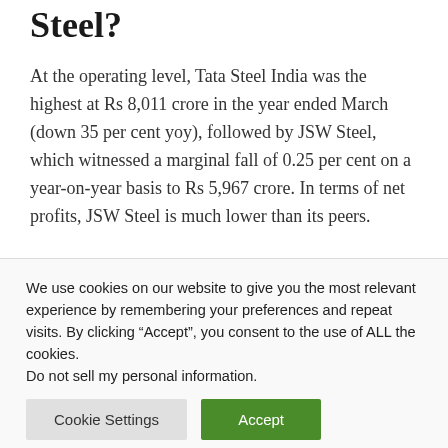Steel?
At the operating level, Tata Steel India was the highest at Rs 8,011 crore in the year ended March (down 35 per cent yoy), followed by JSW Steel, which witnessed a marginal fall of 0.25 per cent on a year-on-year basis to Rs 5,967 crore. In terms of net profits, JSW Steel is much lower than its peers.
We use cookies on our website to give you the most relevant experience by remembering your preferences and repeat visits. By clicking “Accept”, you consent to the use of ALL the cookies.
Do not sell my personal information.